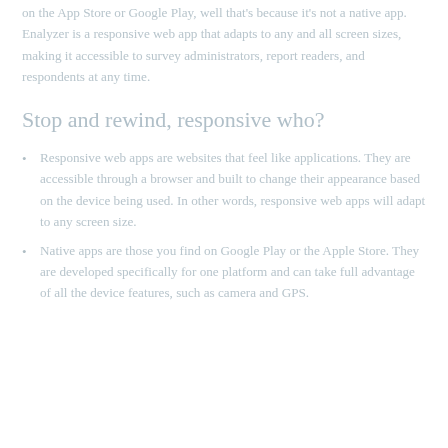on the App Store or Google Play, well that's because it's not a native app. Enalyzer is a responsive web app that adapts to any and all screen sizes, making it accessible to survey administrators, report readers, and respondents at any time.
Stop and rewind, responsive who?
Responsive web apps are websites that feel like applications. They are accessible through a browser and built to change their appearance based on the device being used. In other words, responsive web apps will adapt to any screen size.
Native apps are those you find on Google Play or the Apple Store. They are developed specifically for one platform and can take full advantage of all the device features, such as camera and GPS.